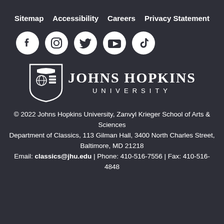Sitemap   Accessibility   Careers   Privacy Statement
[Figure (illustration): Social media icons row: Facebook, Instagram, Twitter, YouTube, TikTok]
[Figure (logo): Johns Hopkins University shield logo with text JOHNS HOPKINS UNIVERSITY]
© 2022 Johns Hopkins University, Zanvyl Krieger School of Arts & Sciences
Department of Classics, 113 Gilman Hall, 3400 North Charles Street, Baltimore, MD 21218
Email: classics@jhu.edu | Phone: 410-516-7556 | Fax: 410-516-4848